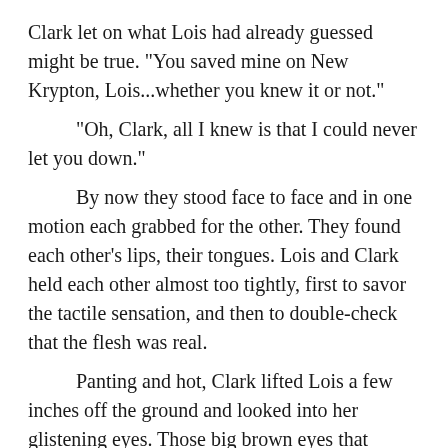Clark let on what Lois had already guessed might be true. "You saved mine on New Krypton, Lois...whether you knew it or not."

"Oh, Clark, all I knew is that I could never let you down."

By now they stood face to face and in one motion each grabbed for the other. They found each other's lips, their tongues. Lois and Clark held each other almost too tightly, first to savor the tactile sensation, and then to double-check that the flesh was real.

Panting and hot, Clark lifted Lois a few inches off the ground and looked into her glistening eyes. Those big brown eyes that looked at him with so much love and faith. The same eyes he had caused three weeks before to be filled with pain and heartbreak.

She looked beautiful underneath the dirt